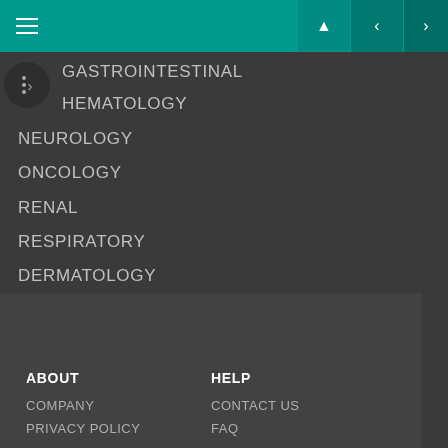≡  ▲  <  >
GASTROINTESTINAL
HEMATOLOGY
NEUROLOGY
ONCOLOGY
RENAL
RESPIRATORY
DERMATOLOGY
MSK
PSYCHIATRY
REST & REINFORCE
ABOUT  HELP  COMPANY  CONTACT US  PRIVACY POLICY  FAQ